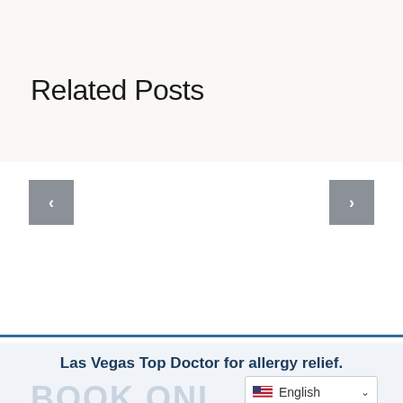Related Posts
[Figure (other): Carousel navigation area with left and right arrow buttons on a white background]
Las Vegas Top Doctor for allergy relief.
BOOK ONL
English